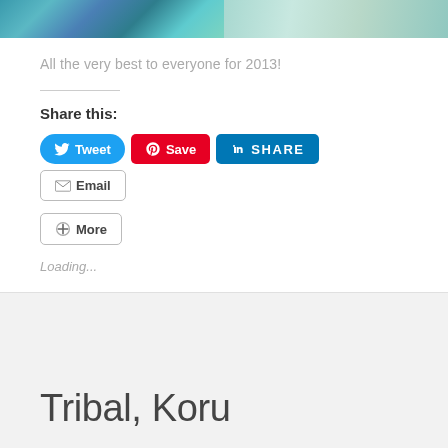[Figure (photo): Two abstract swirling paintings side by side — left panel with dark teal, blue and green swirls; right panel with lighter aqua and cream swirls.]
All the very best to everyone for 2013!
Share this:
Tweet
Save
SHARE
Email
More
Loading...
Tribal, Koru